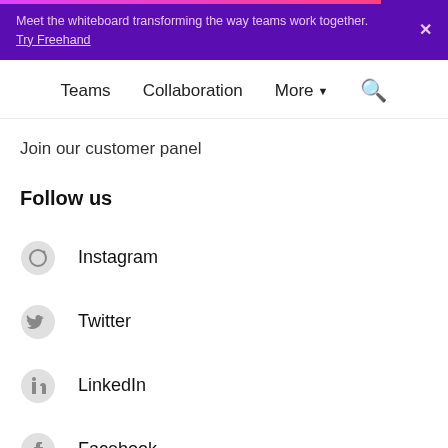Meet the whiteboard transforming the way teams work together. Try Freehand
Teams
Collaboration
More
Join our customer panel
Follow us
Instagram
Twitter
LinkedIn
Facebook